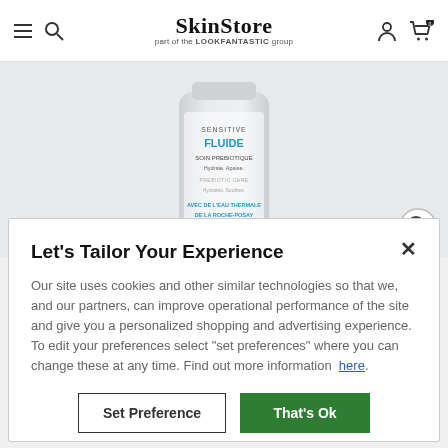SkinStore — part of the LOOKFANTASTIC group
[Figure (photo): Product photo of a white cylindrical bottle labeled SENSITIVE FLUIDE SOIN PREBIOTIQUE Hydrate Apaise PREBIOTIC CARE Hydrates Soothes AVEC DE L'EAU THERMALE DE LA ROCHE-POSAY]
Let's Tailor Your Experience
Our site uses cookies and other similar technologies so that we, and our partners, can improve operational performance of the site and give you a personalized shopping and advertising experience. To edit your preferences select "set preferences" where you can change these at any time. Find out more information here.
Set Preference
That's Ok